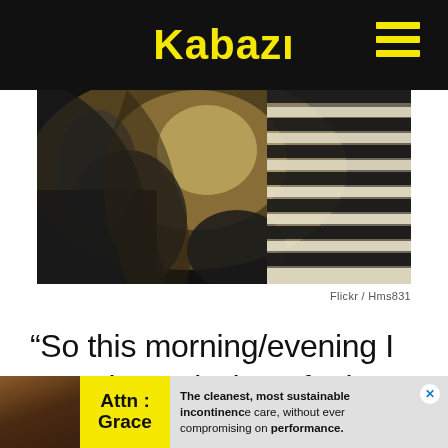Kabazi
[Figure (photo): Dark artistic photo of a person with venetian blind light pattern creating striped shadow effects]
Flickr / Hms831
“So this morning/evening I experienced what I feel was a glitch in the matrix.
Attn: Grace — The cleanest, most sustainable incontinence care, without ever compromising on performance.